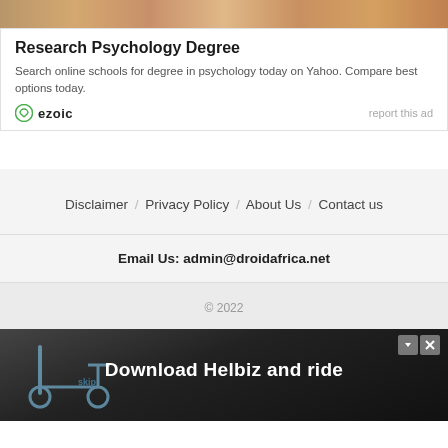[Figure (photo): Top strip showing partial image of people, warm tones]
Research Psychology Degree
Search online schools for degree in psychology today on Yahoo. Compare best options today.
[Figure (logo): Ezoic logo with green circular icon and bold text]
report this ad
Disclaimer / Privacy Policy / About Us / Contact us
Email Us: admin@droidafrica.net
© 2022
[Figure (photo): Advertisement banner: Download Helbiz and ride, showing electric scooter on street]